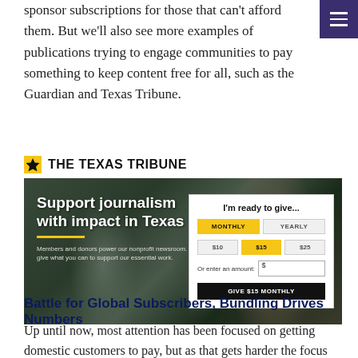sponsor subscriptions for those that can't afford them. But we'll also see more examples of publications trying to engage communities to pay something to keep content free for all, such as the Guardian and Texas Tribune.
[Figure (screenshot): The Texas Tribune website screenshot showing a donation widget with 'I'm ready to give...' heading, MONTHLY/YEARLY tabs, $10/$15/$25 amount buttons, custom amount input field, and 'GIVE $15 MONTHLY' button. Background shows people in rain gear with text 'Support journalism with impact in Texas'.]
Battle for Global Subscribers, Bundling Drives Numbers
Up until now, most attention has been focused on getting domestic customers to pay, but as that gets harder the focus will switch to an international audience with differential (cheaper) pricing to drive numbers.